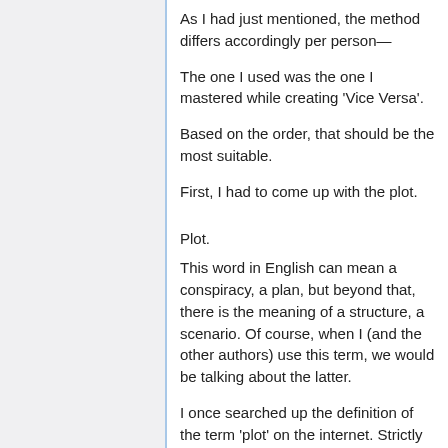As I had just mentioned, the method differs accordingly per person—
The one I used was the one I mastered while creating 'Vice Versa'.
Based on the order, that should be the most suitable.
First, I had to come up with the plot.
Plot.
This word in English can mean a conspiracy, a plan, but beyond that, there is the meaning of a structure, a scenario. Of course, when I (and the other authors) use this term, we would be talking about the latter.
I once searched up the definition of the term 'plot' on the internet. Strictly put, the definition seemed very complex.